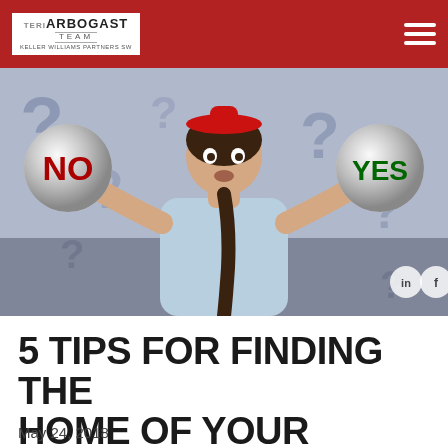Teri Arbogast Team — Keller Williams Partners SW
[Figure (photo): Woman with surprised expression holding two spherical balls, one in each hand. Left ball says 'NO' in red letters, right ball says 'YES' in green letters. Background has question marks pattern in blue/grey. Logo of Teri Arbogast Team Keller Williams Partners SW in top left. Hamburger menu icon top right. LinkedIn and Facebook social icons bottom right.]
5 TIPS FOR FINDING THE HOME OF YOUR DREAMS
May 24, 2018